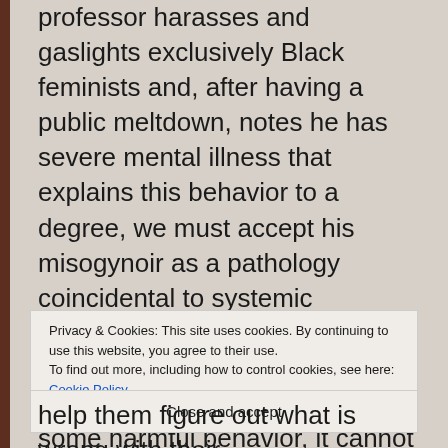professor harasses and gaslights exclusively Black feminists and, after having a public meltdown, notes he has severe mental illness that explains this behavior to a degree, we must accept his misogynoir as a pathology coincidental to systemic misogynoir. Yet there is no such pathology. Even if certain neuroatypicalities can explain some harmful behavior, it cannot explain why that professor only attacked Black women.(5) That is simply misogyny and anti-Blackness. So it is with Criminal Minds.
Privacy & Cookies: This site uses cookies. By continuing to use this website, you agree to their use. To find out more, including how to control cookies, see here: Cookie Policy
Close and accept
help them figure out what is wrong with their